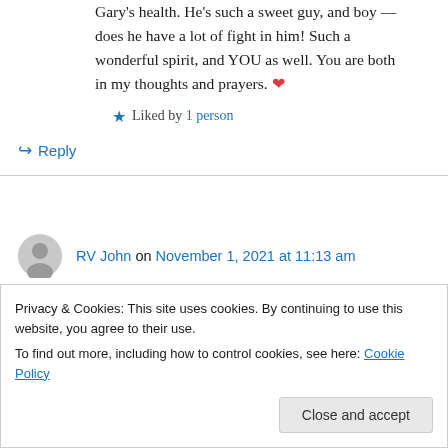Gary's health. He's such a sweet guy, and boy — does he have a lot of fight in him! Such a wonderful spirit, and YOU as well. You are both in my thoughts and prayers. ❤️
★ Liked by 1 person
↪ Reply
RV John on November 1, 2021 at 11:13 am
Hi Judy, you sure have my best wishes, hope that down turn goes to a up turn soon!
Privacy & Cookies: This site uses cookies. By continuing to use this website, you agree to their use.
To find out more, including how to control cookies, see here: Cookie Policy